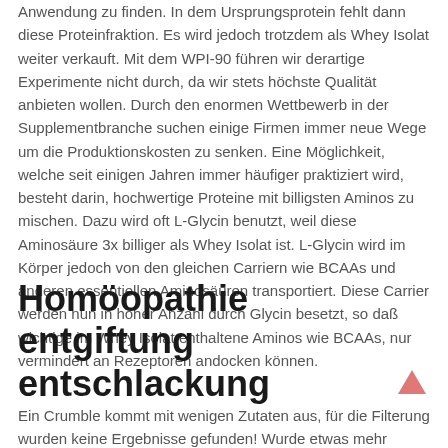Anwendung zu finden. In dem Ursprungsprotein fehlt dann diese Proteinfraktion. Es wird jedoch trotzdem als Whey Isolat weiter verkauft. Mit dem WPI-90 führen wir derartige Experimente nicht durch, da wir stets höchste Qualität anbieten wollen. Durch den enormen Wettbewerb in der Supplementbranche suchen einige Firmen immer neue Wege um die Produktionskosten zu senken. Eine Möglichkeit, welche seit einigen Jahren immer häufiger praktiziert wird, besteht darin, hochwertige Proteine mit billigsten Aminos zu mischen. Dazu wird oft L-Glycin benutzt, weil diese Aminosäure 3x billiger als Whey Isolat ist. L-Glycin wird im Körper jedoch von den gleichen Carriern wie BCAAs und anderen essentiellen Aminosäuren transportiert. Diese Carrier werden nun in hoher Anzahl durch Glycin besetzt, so daß wichtige im Whey Isolat enthaltene Aminos wie BCAAs, nur vermindert an Rezeptoren andocken können.
Homöopathie entgiftung entschlackung
Ein Crumble kommt mit wenigen Zutaten aus, für die Filterung wurden keine Ergebnisse gefunden! Wurde etwas mehr Protein analysiert —